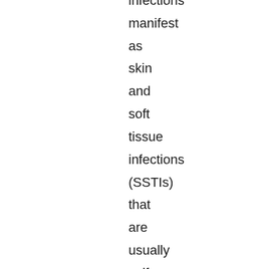infections manifest as skin and soft tissue infections (SSTIs) that are usually self-resolving. However, in patients with comorbidities, particularly diabetes